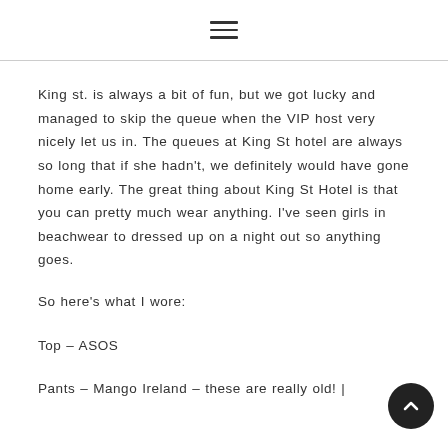[hamburger menu icon]
King st. is always a bit of fun, but we got lucky and managed to skip the queue when the VIP host very nicely let us in. The queues at King St hotel are always so long that if she hadn't, we definitely would have gone home early. The great thing about King St Hotel is that you can pretty much wear anything. I've seen girls in beachwear to dressed up on a night out so anything goes.
So here's what I wore:
Top – ASOS
Pants – Mango Ireland – these are really old! |